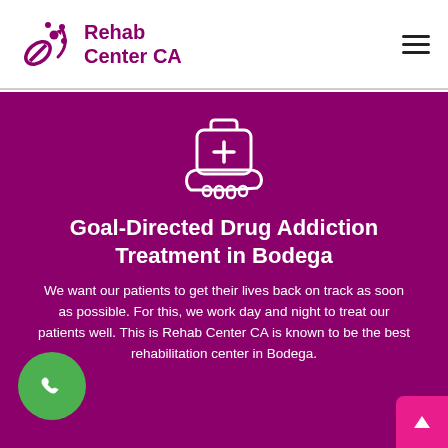[Figure (logo): Rehab Center CA logo with pill/capsule icon and text]
[Figure (illustration): White outline icon of a hand holding a medical kit with a plus sign on a dark magenta background]
Goal-Directed Drug Addiction Treatment in Bodega
We want our patients to get their lives back on track as soon as possible. For this, we work day and night to treat our patients well. This is Rehab Center CA is known to be the best rehabilitation center in Bodega.